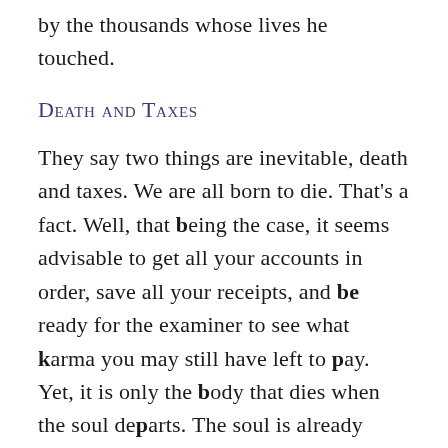by the thousands whose lives he touched.
Death and Taxes
They say two things are inevitable, death and taxes. We are all born to die. That's a fact. Well, that being the case, it seems advisable to get all your accounts in order, save all your receipts, and be ready for the examiner to see what karma you may still have left to pay. Yet, it is only the body that dies when the soul departs. The soul is already immortal, indestructible. Although there is still air left in the body, it is the “prana”—the divine life force that